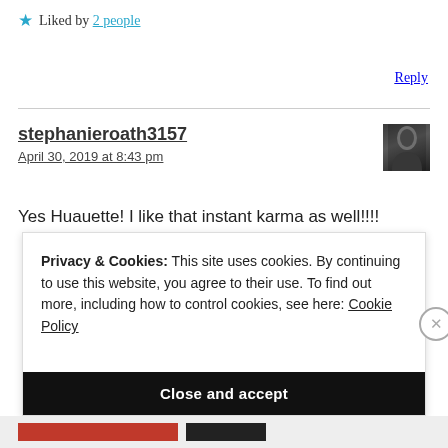★ Liked by 2 people
Reply
stephanieroath3157
April 30, 2019 at 8:43 pm
[Figure (photo): User avatar photo showing a person in dark clothing]
Yes Huauette! I like that instant karma as well!!!!
Privacy & Cookies: This site uses cookies. By continuing to use this website, you agree to their use. To find out more, including how to control cookies, see here: Cookie Policy
Close and accept